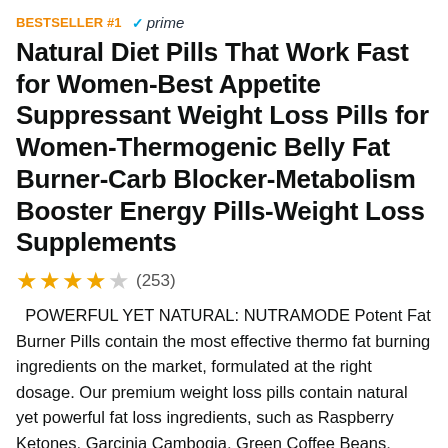BESTSELLER #1  ✓prime
Natural Diet Pills That Work Fast for Women-Best Appetite Suppressant Weight Loss Pills for Women-Thermogenic Belly Fat Burner-Carb Blocker-Metabolism Booster Energy Pills-Weight Loss Supplements
★★★½☆ (253)
POWERFUL YET NATURAL: NUTRAMODE Potent Fat Burner Pills contain the most effective thermo fat burning ingredients on the market, formulated at the right dosage. Our premium weight loss pills contain natural yet powerful fat loss ingredients, such as Raspberry Ketones, Garcinia Cambogia, Green Coffee Beans, Green Tea Extract and more. The efficacy of these potent natural ingredients makes our premium weight loss supplement the best solution to your